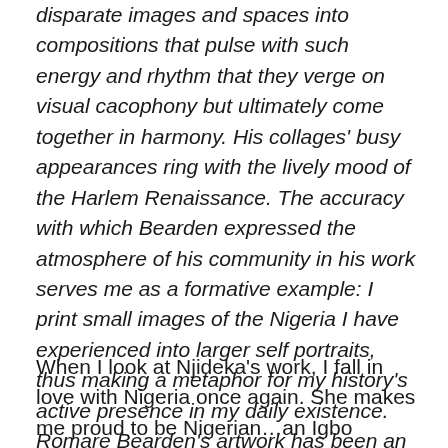disparate images and spaces into compositions that pulse with such energy and rhythm that they verge on visual cacophony but ultimately come together in harmony. His collages' busy appearances ring with the lively mood of the Harlem Renaissance. The accuracy with which Bearden expressed the atmosphere of his community in his work serves me as a formative example: I print small images of the Nigeria I have experienced into larger self portraits, thus making a metaphor for my history's active presence in my daily existence. Romare Bearden's artwork has been an important influence on me, so I am honored and grateful to have the opportunity to participate in this exhibition and to pay homage to him."
When I look at Njideka's work, I fall in love with Nigeria once again. She makes me proud to be Nigerian…an Igbo woman, and…she makes me want to fall in love, because